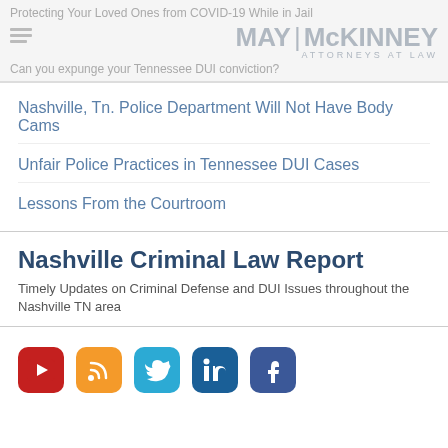Protecting Your Loved Ones from COVID-19 While in Jail | MAY McKINNEY ATTORNEYS AT LAW | Can you expunge your Tennessee DUI conviction?
Nashville, Tn. Police Department Will Not Have Body Cams
Unfair Police Practices in Tennessee DUI Cases
Lessons From the Courtroom
Nashville Criminal Law Report
Timely Updates on Criminal Defense and DUI Issues throughout the Nashville TN area
[Figure (illustration): Social media icons: YouTube (red), RSS (orange), Twitter (blue), LinkedIn (dark blue), Facebook (dark blue)]